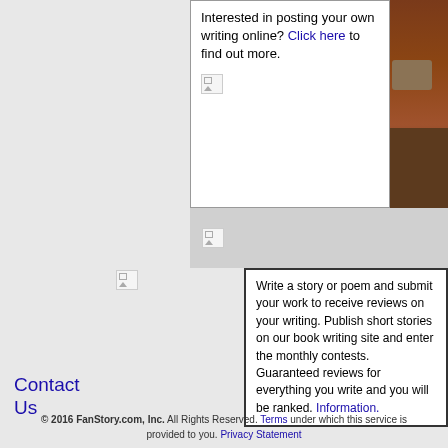Interested in posting your own writing online? Click here to find out more.
[Figure (other): Broken image placeholder in top white box]
[Figure (photo): Partial photo of person visible on right side of top box]
[Figure (other): Broken image placeholder in gray strip]
[Figure (other): Broken image placeholder on left side]
Write a story or poem and submit your work to receive reviews on your writing. Publish short stories on our book writing site and enter the monthly contests. Guaranteed reviews for everything you write and you will be ranked. Information.
Contact Us
© 2016 FanStory.com, Inc. All Rights Reserved. Terms under which this service is provided to you. Privacy Statement